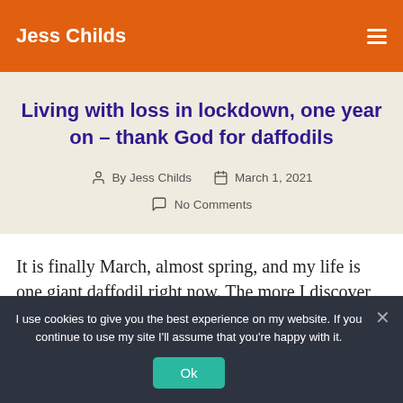Jess Childs
Living with loss in lockdown, one year on – thank God for daffodils
By Jess Childs   March 1, 2021   No Comments
It is finally March, almost spring, and my life is one giant daffodil right now. The more I discover, the more
I use cookies to give you the best experience on my website. If you continue to use my site I'll assume that you're happy with it.